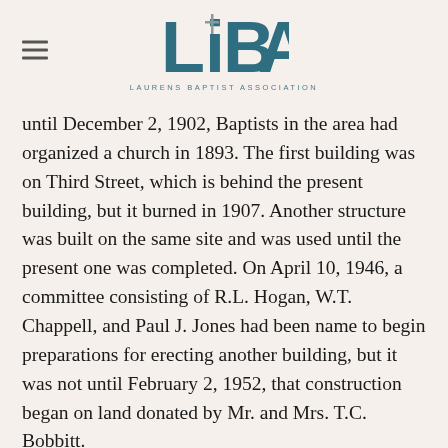LiBA — Laurens Baptist Association
until December 2, 1902, Baptists in the area had organized a church in 1893. The first building was on Third Street, which is behind the present building, but it burned in 1907. Another structure was built on the same site and was used until the present one was completed. On April 10, 1946, a committee consisting of R.L. Hogan, W.T. Chappell, and Paul J. Jones had been name to begin preparations for erecting another building, but it was not until February 2, 1952, that construction began on land donated by Mr. and Mrs. T.C. Bobbitt.
Find Them Online